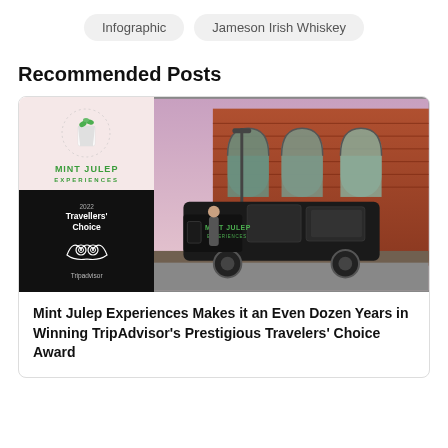Infographic
Jameson Irish Whiskey
Recommended Posts
[Figure (photo): Mint Julep Experiences promotional image showing logo with TripAdvisor 2022 Travellers' Choice award on the left, and a black branded van/shuttle parked in front of a brick building with arched windows on the right.]
Mint Julep Experiences Makes it an Even Dozen Years in Winning TripAdvisor's Prestigious Travelers' Choice Award